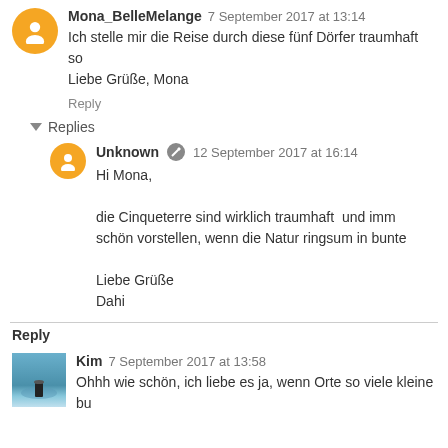Mona_BelleMelange 7 September 2017 at 13:14
Ich stelle mir die Reise durch diese fünf Dörfer traumhaft so
Liebe Grüße, Mona
Reply
Replies
Unknown 12 September 2017 at 16:14
Hi Mona,

die Cinqueterre sind wirklich traumhaft und imm
schön vorstellen, wenn die Natur ringsum in bunte

Liebe Grüße
Dahi
Reply
Kim 7 September 2017 at 13:58
Ohhh wie schön, ich liebe es ja, wenn Orte so viele kleine bu